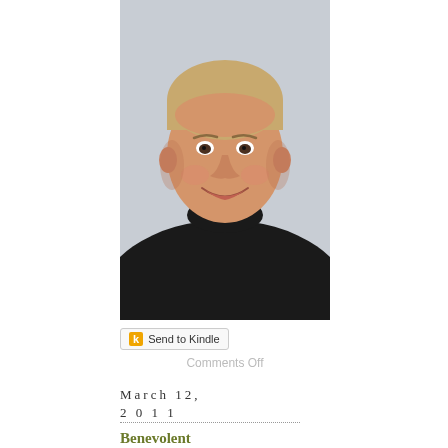[Figure (photo): Professional headshot of a middle-aged man with short grey-blonde hair, smiling, wearing a black turtleneck sweater, against a light grey background.]
Send to Kindle
Comments Off
March 12, 2011
Benevolent Outcomes Blog 3-12-11